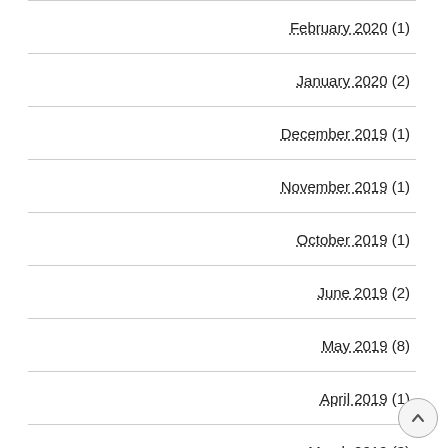| February 2020 (1) |
| January 2020 (2) |
| December 2019 (1) |
| November 2019 (1) |
| October 2019 (1) |
| June 2019 (2) |
| May 2019 (8) |
| April 2019 (1) |
| March 2019 (3) |
| February 2019 (1) |
| January 2019 (3) |